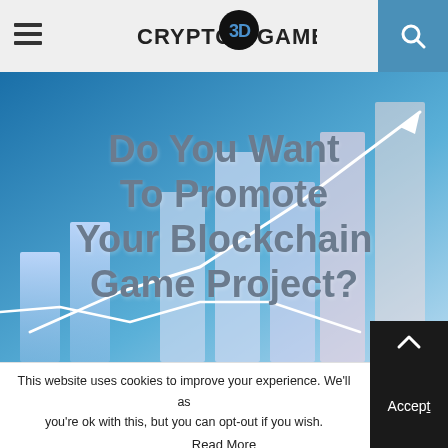Crypto3DGames — navigation header
[Figure (illustration): Hero banner with bar chart growth graphic and upward trending line chart on a blue gradient background, overlaid with large text: Do You Want To Promote Your Blockchain Game Project?]
Do You Want To Promote Your Blockchain Game Project?
This website uses cookies to improve your experience. We'll assume you're ok with this, but you can opt-out if you wish.
Read More